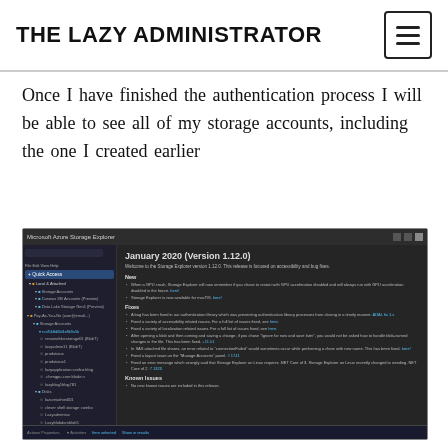THE LAZY ADMINISTRATOR
Once I have finished the authentication process I will be able to see all of my storage accounts, including the one I created earlier
[Figure (screenshot): Screenshot of Microsoft Azure Storage Explorer application showing Release Notes 1.12.0 with January 2020 (Version 1.12.0) content including New features, Fixes, and Known Issues sections. The left sidebar shows a tree of storage accounts including Local & Attached, Storage Accounts, Cosmos DB Accounts, Data Lake Storage Gen1, and various named accounts. The main panel shows release notes text.]